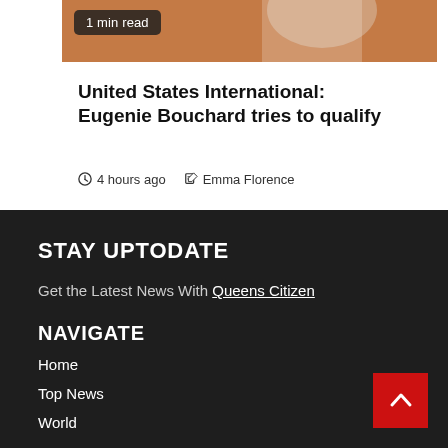[Figure (photo): Partial photo of a tennis player wearing white, shot from behind on a clay court. Badge showing '1 min read' overlaid on top-left.]
United States International: Eugenie Bouchard tries to qualify
4 hours ago  Emma Florence
STAY UPTODATE
Get the Latest News With Queens Citizen
NAVIGATE
Home
Top News
World